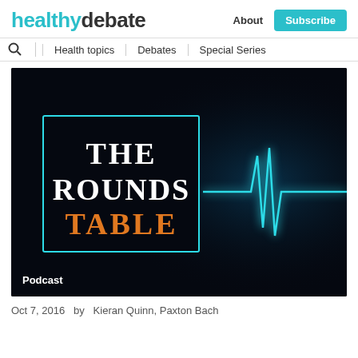healthydebate | About | Subscribe | Health topics | Debates | Special Series
[Figure (screenshot): The Rounds Table podcast logo on a dark background with a glowing cyan ECG heartbeat line. Text reads THE ROUNDS TABLE with 'TABLE' in orange. Bottom left shows 'Podcast' label.]
Oct 7, 2016  by  Kieran Quinn, Paxton Bach